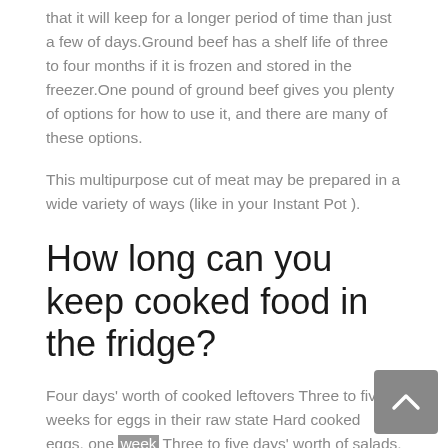that it will keep for a longer period of time than just a few of days.Ground beef has a shelf life of three to four months if it is frozen and stored in the freezer.One pound of ground beef gives you plenty of options for how to use it, and there are many of these options.
This multipurpose cut of meat may be prepared in a wide variety of ways (like in your Instant Pot ).
How long can you keep cooked food in the fridge?
Four days' worth of cooked leftovers Three to five weeks for eggs in their raw state Hard cooked eggs, one week Three to five days' worth of salads, including egg, macaroni, potato, or tuna varieties Chops of pork and